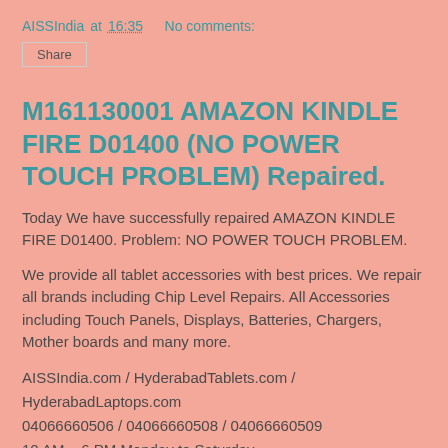AISSIndia at 16:35   No comments:
Share
M161130001 AMAZON KINDLE FIRE D01400 (NO POWER TOUCH PROBLEM) Repaired.
Today We have successfully repaired AMAZON KINDLE FIRE D01400. Problem: NO POWER TOUCH PROBLEM.
We provide all tablet accessories with best prices. We repair all brands including Chip Level Repairs. All Accessories including Touch Panels, Displays, Batteries, Chargers, Mother boards and many more.
AISSIndia.com / HyderabadTablets.com / HyderabadLaptops.com
04066660506 / 04066660508 / 04066660509
10 AM – 6 PM Monday to Saturday